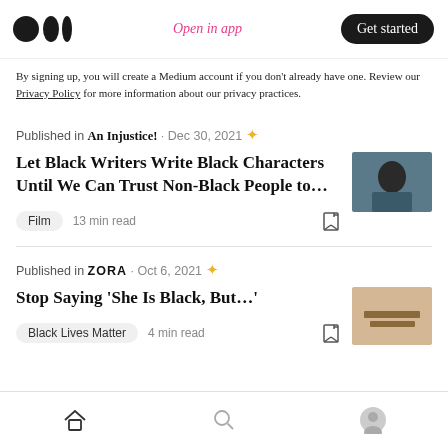Medium logo | Open in app | Get started
By signing up, you will create a Medium account if you don't already have one. Review our Privacy Policy for more information about our privacy practices.
Published in An Injustice! · Dec 30, 2021 ✦
Let Black Writers Write Black Characters Until We Can Trust Non-Black People to…
Film  13 min read
Published in ZORA · Oct 6, 2021 ✦
Stop Saying 'She Is Black, But…'
Black Lives Matter  4 min read
Home | Search | Profile